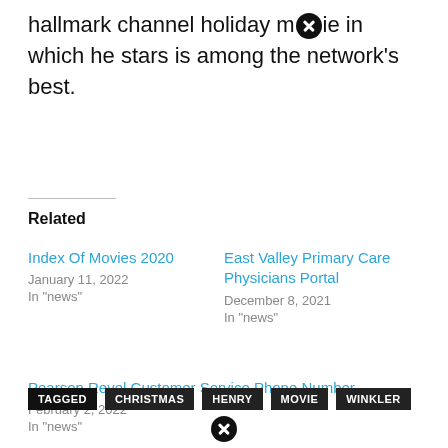hallmark channel holiday movie in which he stars is among the network's best.
Related
Index Of Movies 2020
January 11, 2022
In "news"
East Valley Primary Care Physicians Portal
December 8, 2021
In "news"
Pearson Revel Customer Service Phone Number
February 2, 2022
In "news"
TAGGED  CHRISTMAS  HENRY  MOVIE  WINKLER